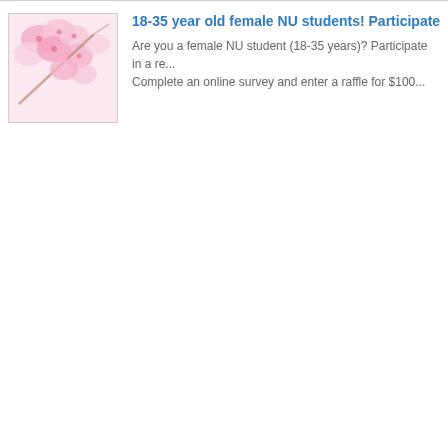[Figure (photo): Cherry blossom flowers, pink, close-up]
18-35 year old female NU students! Participate...
Are you a female NU student (18-35 years)? Participate in a re... Complete an online survey and enter a raffle for $100...
[Figure (photo): Cherry blossom flowers, pink, close-up]
18-35 year old female NU students: Participate...
Are you a female NU student (18-35 years)? Participate in a re... Perceptions! Complete an online survey and enter a raffle for a...